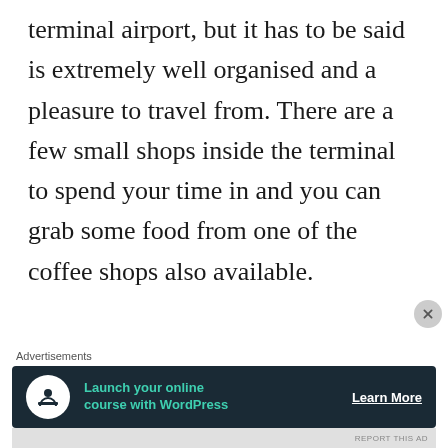terminal airport, but it has to be said is extremely well organised and a pleasure to travel from. There are a few small shops inside the terminal to spend your time in and you can grab some food from one of the coffee shops also available.

Arriving in Dublin International Airport was problem free. This giant, two-
Advertisements
[Figure (other): Advertisement banner: dark background with white circle icon showing a person at a desk, teal text reading 'Launch your online course with WordPress', and white 'Learn More' button link.]